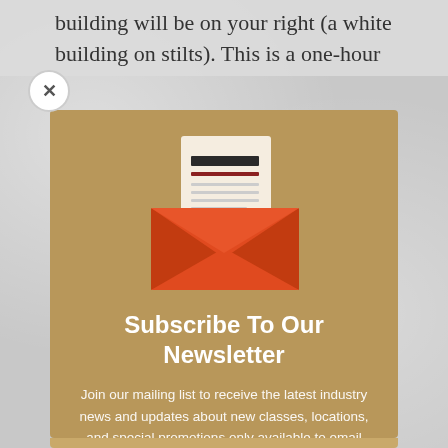building will be on your right (a white building on stilts). This is a one-hour
[Figure (illustration): Newsletter subscription modal popup with an orange open envelope containing a document/letter icon, on a golden-brown background]
Subscribe To Our Newsletter
Join our mailing list to receive the latest industry news and updates about new classes, locations, and special promotions only available to email subscribers!